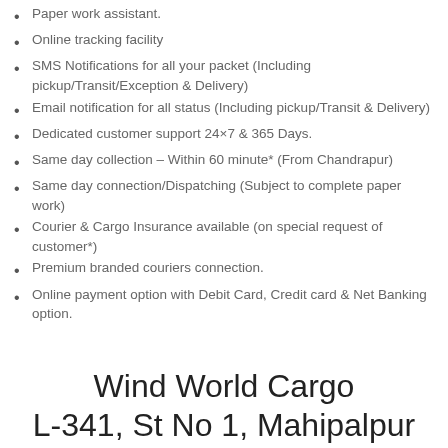Paper work assistant.
Online tracking facility
SMS Notifications for all your packet (Including pickup/Transit/Exception & Delivery)
Email notification for all status (Including pickup/Transit & Delivery)
Dedicated customer support 24×7 & 365 Days.
Same day collection – Within 60 minute* (From Chandrapur)
Same day connection/Dispatching (Subject to complete paper work)
Courier & Cargo Insurance available (on special request of customer*)
Premium branded couriers connection.
Online payment option with Debit Card, Credit card & Net Banking option.
Wind World Cargo
L-341, St No 1, Mahipalpur